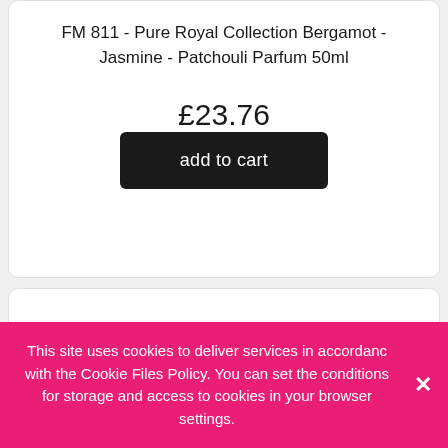FM 811 - Pure Royal Collection Bergamot - Jasmine - Patchouli Parfum 50ml
£23.76
add to cart
[Figure (other): Second product card showing partial product image (dark colored perfume bottle) at the bottom]
This site uses cookies to deliver services in accordance with the Cookie Files Policy. You can set the conditions for storage and access to cookies in your browser settings.